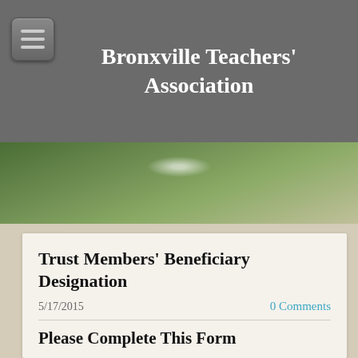Bronxville Teachers' Association
[Figure (photo): Outdoor photo strip showing trees and foliage with green and natural tones]
Trust Members' Beneficiary Designation
5/17/2015   0 Comments
Please Complete This Form